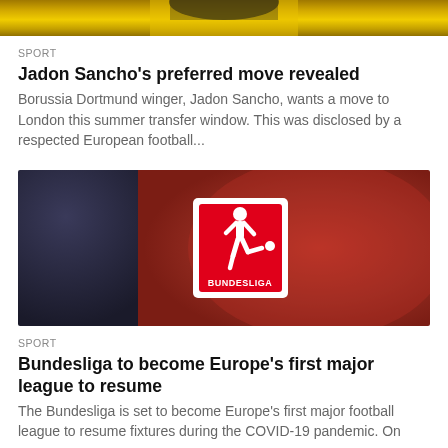[Figure (photo): Partial photo of a footballer in a yellow Borussia Dortmund jersey, cropped to show torso/shoulders area]
SPORT
Jadon Sancho's preferred move revealed
Borussia Dortmund winger, Jadon Sancho, wants a move to London this summer transfer window. This was disclosed by a respected European football...
[Figure (photo): Close-up photo of a red football shirt bearing the Bundesliga logo — a white square with a kicking footballer silhouette and the word BUNDESLIGA]
SPORT
Bundesliga to become Europe's first major league to resume
The Bundesliga is set to become Europe's first major football league to resume fixtures during the COVID-19 pandemic. On